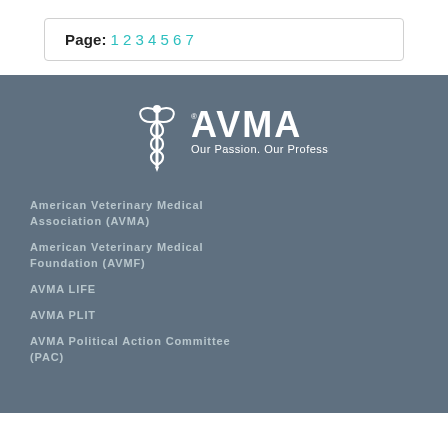Page: 1 2 3 4 5 6 7
[Figure (logo): AVMA logo with caduceus symbol and tagline 'Our Passion. Our Profession.']
American Veterinary Medical Association (AVMA)
American Veterinary Medical Foundation (AVMF)
AVMA LIFE
AVMA PLIT
AVMA Political Action Committee (PAC)